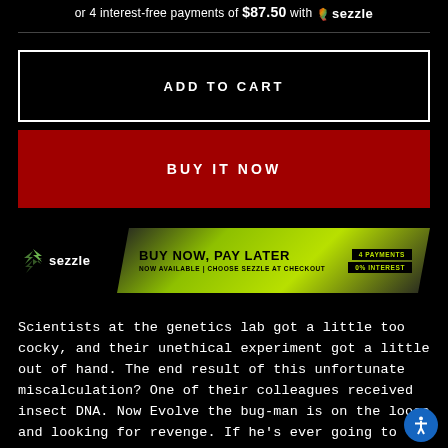or 4 interest-free payments of $87.50 with sezzle
ADD TO CART
BUY IT NOW
[Figure (infographic): Sezzle buy now pay later promotional banner. Left side shows Sezzle logo with lightning bolt icon and 'sezzle' text. Right side shows a yellow-green chevron banner reading 'BUY NOW, PAY LATER / NOW AVAILABLE | CHOOSE SEZZLE AT CHECKOUT' with '4 PAYMENTS / 0% INTEREST' in black boxes on the right.]
Scientists at the genetics lab got a little too cocky, and their unethical experiment got a little out of hand. The end result of this unfortunate miscalculation? One of their colleagues received insect DNA. Now Evolve the bug-man is on the loose and looking for revenge. If he's ever going to turn himself back into a human, he may need a few gallons of blood and